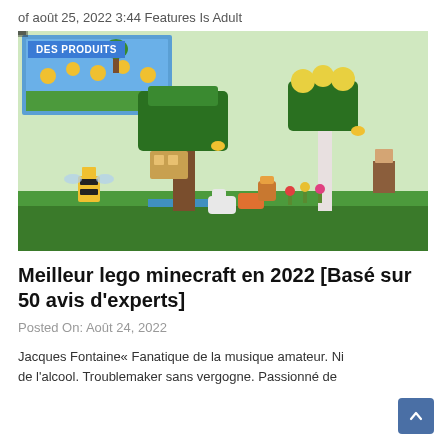of août 25, 2022 3:44 Features Is Adult
[Figure (photo): Minecraft LEGO bee farm set product image showing box art and assembled set with bee characters, trees, flowers and a villager minifigure. Label 'DES PRODUITS' in top left corner.]
Meilleur lego minecraft en 2022 [Basé sur 50 avis d'experts]
Posted On: Août 24, 2022
Jacques Fontaine« Fanatique de la musique amateur. Ni de l'alcool. Troublemaker sans vergogne. Passionné de